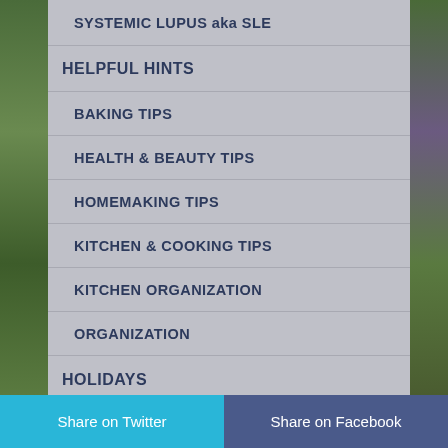SYSTEMIC LUPUS aka SLE
HELPFUL HINTS
BAKING TIPS
HEALTH & BEAUTY TIPS
HOMEMAKING TIPS
KITCHEN & COOKING TIPS
KITCHEN ORGANIZATION
ORGANIZATION
HOLIDAYS
4TH OF JULY
ANNIVERSARY
Share on Twitter | Share on Facebook